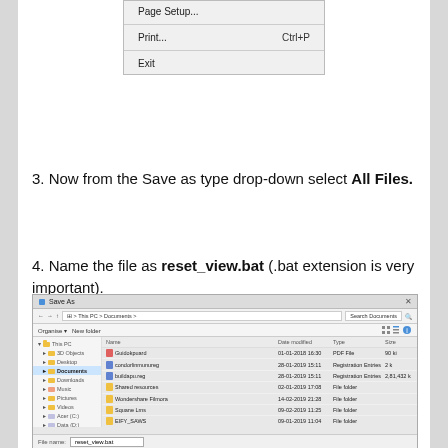[Figure (screenshot): Windows context menu showing Page Setup..., Print... (Ctrl+P), and Exit options]
3. Now from the Save as type drop-down select All Files.
4. Name the file as reset_view.bat (.bat extension is very important).
5. Navigate to where you want to save the file and click Save.
[Figure (screenshot): Windows Save As dialog showing Documents folder with various files listed, file name field shows reset_view.bat]